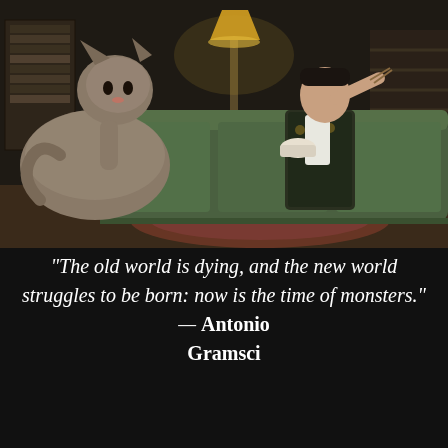[Figure (photo): A man in a floral robe sitting on a green couch feeding a large fluffy cat with chopsticks from a bowl, in a warmly lit living room with bookshelves and a staircase visible in the background.]
“The old world is dying, and the new world struggles to be born: now is the time of monsters.” — Antonio Gramsci